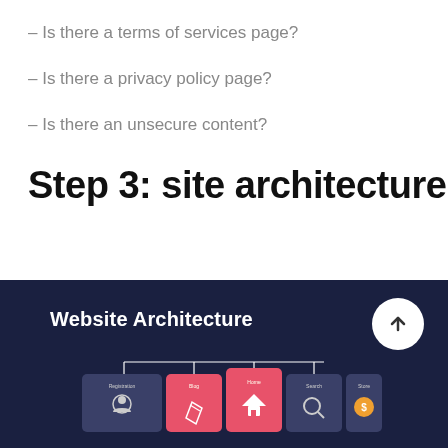– Is there a terms of services page?
– Is there a privacy policy page?
– Is there an unsecure content?
Step 3: site architecture
[Figure (infographic): Website Architecture diagram on dark navy background showing a navigation bar with icons (person/login, pencil, home, search, coin) labeled with small text, connected with lines above to indicate site structure. A white circular button with an upward arrow appears in the top-right corner.]